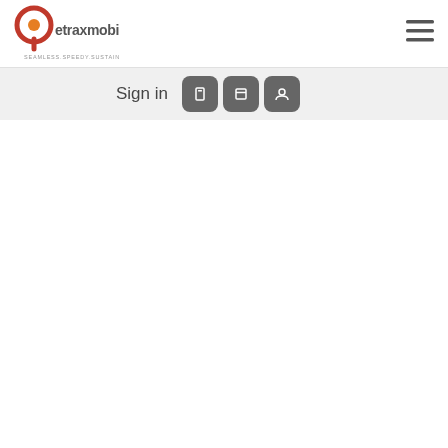[Figure (logo): etraxmobility logo with red/orange circular icon and text 'etraxmobility' with tagline 'SEAMLESS.SPEEDY.SUSTAINABLE']
[Figure (other): Hamburger menu icon (three horizontal lines) in top right corner]
Sign in
[Figure (other): Three dark gray rounded square icon buttons for social sign-in]